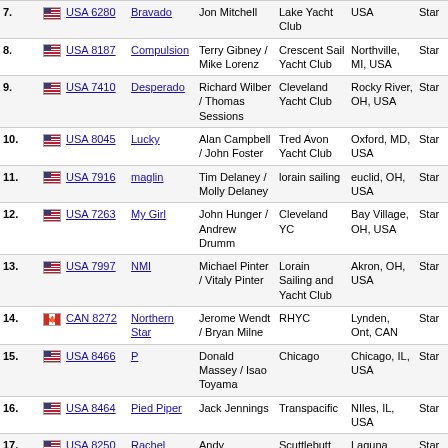| # | Boat ID | Boat Name | Skipper(s) | Club | Location | Class | Pts |
| --- | --- | --- | --- | --- | --- | --- | --- |
| 7. | USA 6280 | Bravado | Jon Mitchell | Lake Yacht Club | USA | Star | 23 |
| 8. | USA 8187 | Compulsion | Terry Gibney / Mike Lorenz | Crescent Sail Yacht Club | Northville, MI, USA | Star | 23 |
| 9. | USA 7410 | Desperado | Richard Wilber / Thomas Sessions | Cleveland Yacht Club | Rocky River, OH, USA | Star | 23 |
| 10. | USA 8045 | Lucky | Alan Campbell / John Foster | Tred Avon Yacht Club | Oxford, MD, USA | Star | 23 |
| 11. | USA 7916 | maglin | Tim Delaney / Molly Delaney | lorain sailing | euclid, OH, USA | Star | 23 |
| 12. | USA 7263 | My Girl | John Hunger / Andrew Drumm | Cleveland YC | Bay Village, OH, USA | Star | 23 |
| 13. | USA 7997 | NMI | Michael Pinter / Vitaly Pinter | Lorain Sailing and Yacht Club | Akron, OH, USA | Star | 23 |
| 14. | CAN 8272 | Northern Star | Jerome Wendt / Bryan Milne | RHYC | Lynden, Ont, CAN | Star | 23 |
| 15. | USA 8466 | P | Donald Massey / Isao Toyama | Chicago | Chicago, IL, USA | Star | 23 |
| 16. | USA 8464 | Pied Piper | Jack Jennings | Transpacific | NIles, IL, USA | Star | 23 |
| 17. | USA 8250 | Rachel | Andy Macdonald / Mike Wolfs | Scuttlebutt Sailing Club | Laguna Beach, CA, USA | Star | 23 |
| 18. | USA 8059 | Re-Pear | Bob Lippincott / Matt Rajacich | Tred Avon Yacht Club | Oxford, MD, USA | Star | 23 |
| 19. | USA 8490 | Stella | John MacCausland / Roger Cheer | Cooper River YC | Collingswood, NJ, USA | Star | 23 |
| 20. | USA 8245 | Sweet Lil II | David Ivey / Paul Skarin | Lake Sunapee | Sunapee, NH, USA | Star | 23 |
| 21. |  |  | Thomas Landrigan, Jr. / | Island Bay... |  | Star |  |